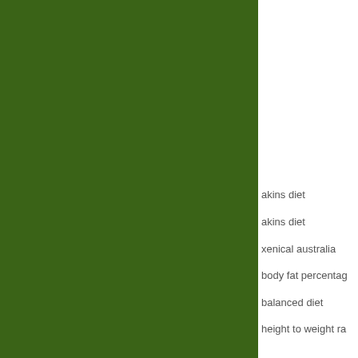[Figure (other): Large dark green rectangular block occupying the left portion of the page]
akins diet
akins diet
xenical australia
body fat percentage
balanced diet
height to weight ra